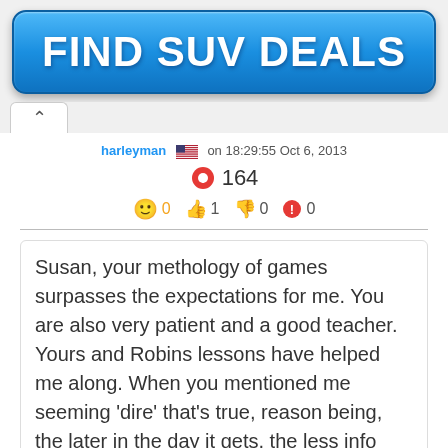[Figure (other): Blue rounded button banner reading FIND SUV DEALS in white bold text]
harleyman 🇺🇸 on 18:29:55 Oct 6, 2013
164 (score with gear icon)
😊 0   👍 1   👎 0   🚨 0
Susan, your methology of games surpasses the expectations for me. You are also very patient and a good teacher. Yours and Robins lessons have helped me along. When you mentioned me seeming 'dire' that's true, reason being, the later in the day it gets, the less info flows and I get in a panic to attain the low move. Sorry if I chaff you... 🙂